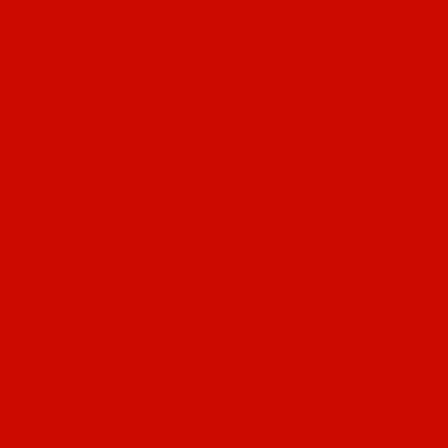[Figure (other): Solid red background filling the entire page, color approximately #cc0a00 (deep red).]